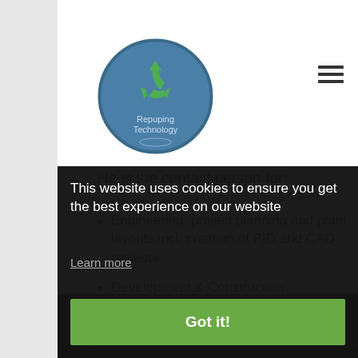[Figure (logo): Repuping Technology circular logo with green recycling arrows on a blue/gray globe background]
He is the contact person for:
Engineering, project planning and plant layouts incl. creation of PID and CAD projects
Development & Construction
Technical editing
[Figure (photo): Man in suit, photo partially obscured by cookie consent overlay]
This website uses cookies to ensure you get the best experience on our website
Learn more
Got it!